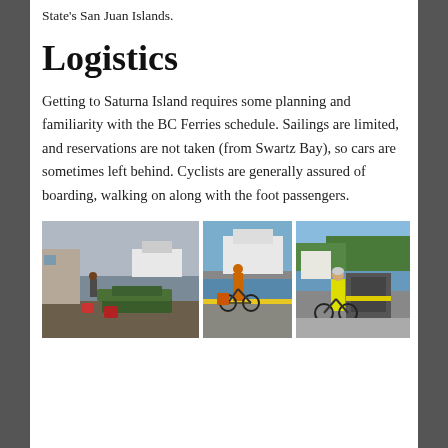State's San Juan Islands.
Logistics
Getting to Saturna Island requires some planning and familiarity with the BC Ferries schedule. Sailings are limited, and reservations are not taken (from Swartz Bay), so cars are sometimes left behind. Cyclists are generally assured of boarding, walking on along with the foot passengers.
[Figure (photo): Ferry dock scene with fishing traps/equipment piled on dock, ferry in background, overcast sky]
[Figure (photo): Cyclist with loaded bike on ferry dock, ferry vessel visible behind]
[Figure (photo): Person in safety vest standing next to bicycle at ferry terminal, green forested hills in background]